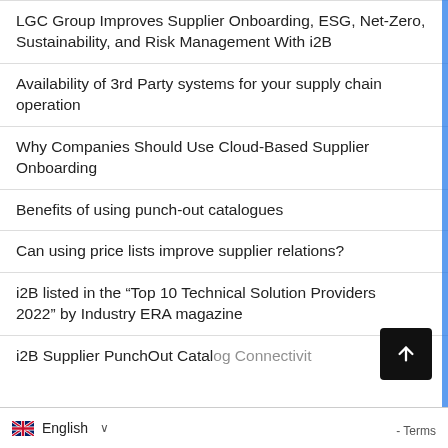LGC Group Improves Supplier Onboarding, ESG, Net-Zero, Sustainability, and Risk Management With i2B
Availability of 3rd Party systems for your supply chain operation
Why Companies Should Use Cloud-Based Supplier Onboarding
Benefits of using punch-out catalogues
Can using price lists improve supplier relations?
i2B listed in the “Top 10 Technical Solution Providers 2022” by Industry ERA magazine
i2B Supplier PunchOut Catalog Connectivity — PunchMeOut